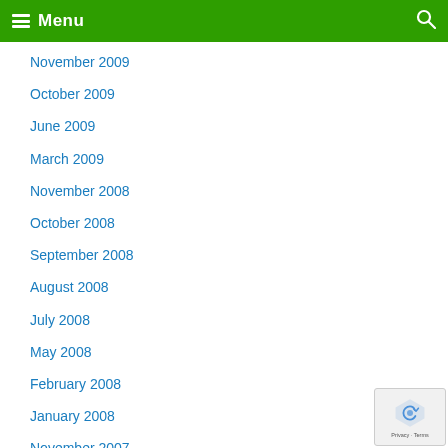Menu
November 2009
October 2009
June 2009
March 2009
November 2008
October 2008
September 2008
August 2008
July 2008
May 2008
February 2008
January 2008
November 2007
September 2007
August 2007
July 2007